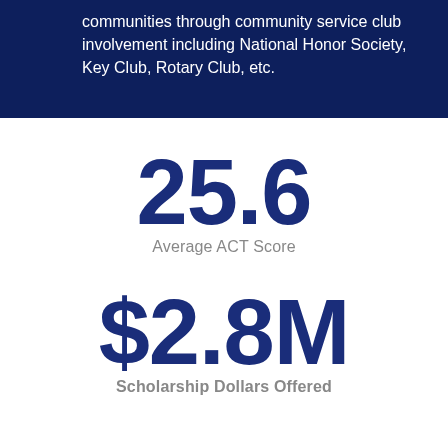communities through community service club involvement including National Honor Society, Key Club, Rotary Club, etc.
25.6
Average ACT Score
$2.8M
Scholarship Dollars Offered